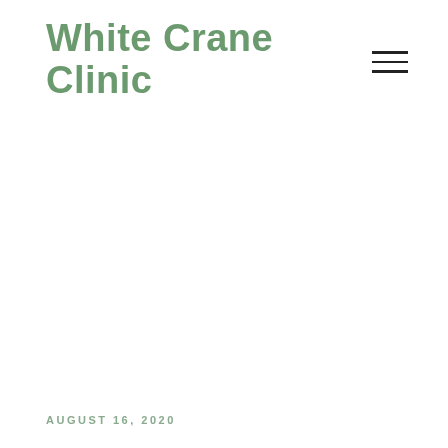White Crane Clinic
AUGUST 16, 2020